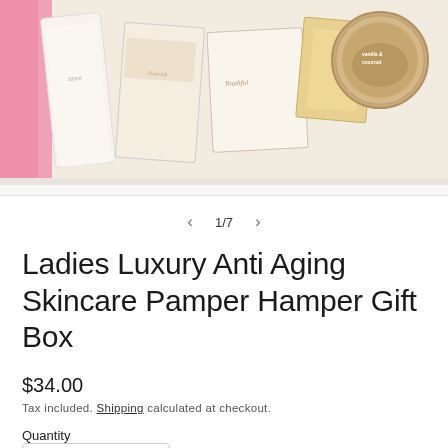[Figure (photo): Open gift hamper box viewed from above, containing skincare products including bottles, boxes and a tin with vanilla and coconut label, resting on pink tissue paper]
1/7
Ladies Luxury Anti Aging Skincare Pamper Hamper Gift Box
$34.00
Tax included. Shipping calculated at checkout.
Quantity